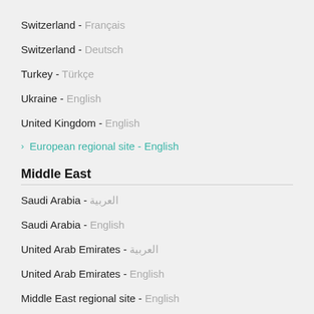Switzerland - Français
Switzerland - Deutsch
Turkey - Türkçe
Ukraine - English
United Kingdom - English
› European regional site - English
Middle East
Saudi Arabia - العربية
Saudi Arabia - English
United Arab Emirates - العربية
United Arab Emirates - English
Middle East regional site - English